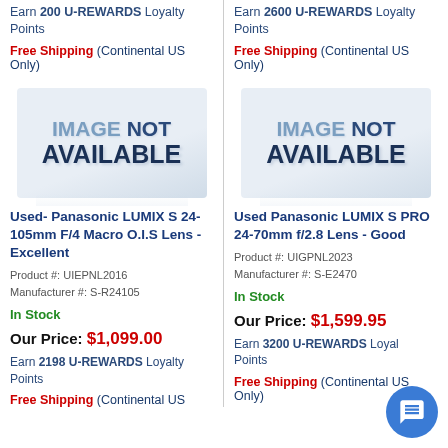Earn 200 U-REWARDS Loyalty Points
Free Shipping (Continental US Only)
Earn 2600 U-REWARDS Loyalty Points
Free Shipping (Continental US Only)
[Figure (illustration): Image Not Available placeholder - left column]
[Figure (illustration): Image Not Available placeholder - right column]
Used- Panasonic LUMIX S 24-105mm F/4 Macro O.I.S Lens - Excellent
Product #: UIEPNL2016
Manufacturer #: S-R24105
In Stock
Our Price: $1,099.00
Earn 2198 U-REWARDS Loyalty Points
Free Shipping (Continental US Only)
Used Panasonic LUMIX S PRO 24-70mm f/2.8 Lens - Good
Product #: UIGPNL2023
Manufacturer #: S-E2470
In Stock
Our Price: $1,599.95
Earn 3200 U-REWARDS Loyalty Points
Free Shipping (Continental US Only)